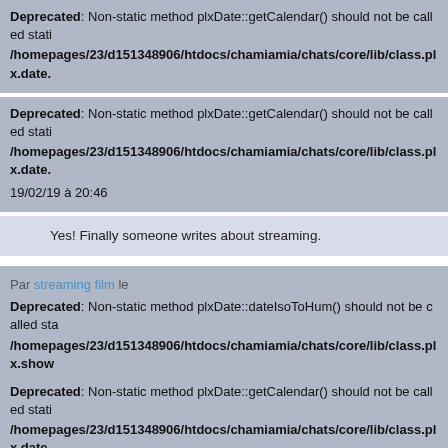Deprecated: Non-static method plxDate::getCalendar() should not be called stati... /homepages/23/d151348906/htdocs/chamiamia/chats/core/lib/class.plx.date.
Deprecated: Non-static method plxDate::getCalendar() should not be called stati... /homepages/23/d151348906/htdocs/chamiamia/chats/core/lib/class.plx.date. 19/02/19 à 20:46
Yes! Finally someone writes about streaming.
Par streaming film le
Deprecated: Non-static method plxDate::dateIsoToHum() should not be called sta... /homepages/23/d151348906/htdocs/chamiamia/chats/core/lib/class.plx.show
Deprecated: Non-static method plxDate::getCalendar() should not be called stati... /homepages/23/d151348906/htdocs/chamiamia/chats/core/lib/class.plx.date.
Deprecated: Non-static method plxDate::getCalendar() should not be called stati... /homepages/23/d151348906/htdocs/chamiamia/chats/core/lib/class.plx.date. 20/02/19 à 10:16
It's really very complex in this busy life to listen news on TV, therefore I just... that reason, and obtain the most up-to-date news.